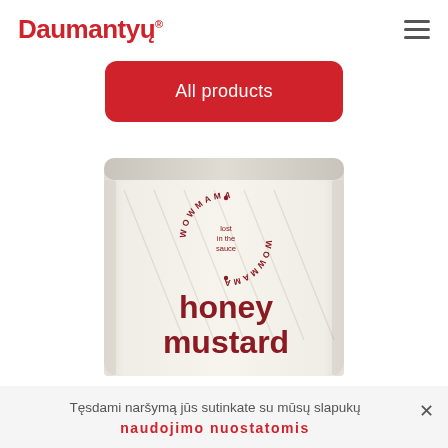Daumantų
All products
[Figure (photo): A cream/white sauce packet labeled 'WOWMAMA lost in the sauce WOWMAMA' with 'honey mustard' text at the bottom in bold dark red lettering]
Tęsdami naršymą jūs sutinkate su mūsų slapukų naudojimo nuostatomis